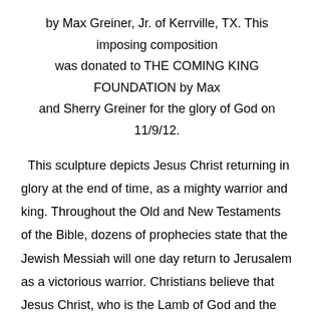by Max Greiner, Jr. of Kerrville, TX. This imposing composition was donated to THE COMING KING FOUNDATION by Max and Sherry Greiner for the glory of God on 11/9/12.
This sculpture depicts Jesus Christ returning in glory at the end of time, as a mighty warrior and king. Throughout the Old and New Testaments of the Bible, dozens of prophecies state that the Jewish Messiah will one day return to Jerusalem as a victorious warrior. Christians believe that Jesus Christ, who is the Lamb of God and the Messiah, will return to earth in power and majesty. However, this time He is coming as the Lion of the Tribe of Judah, the King of kings, and the Lord of lords.
Greiner depicted Christ with fire in His eyes, a Shofar in one hand and the Sword of the Spirit in the other. His robe is blown